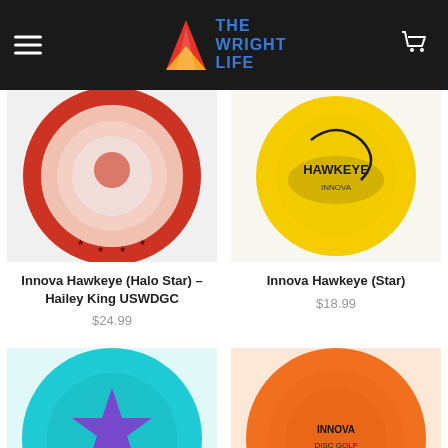The Wright Life
[Figure (photo): Innova Hawkeye disc in pink/red Halo Star plastic]
[Figure (photo): Innova Hawkeye disc in yellow Star plastic]
Innova Hawkeye (Halo Star) – Hailey King USWDGC
$24.99
Innova Hawkeye (Star)
$18.99
[Figure (photo): Innova disc in teal/blue color with Innova Discs logo]
[Figure (photo): Innova disc in orange color]